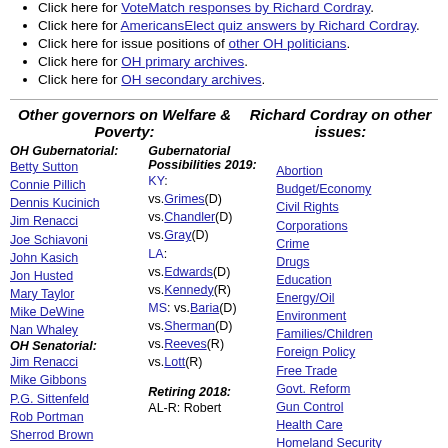Click here for VoteMatch responses by Richard Cordray.
Click here for AmericansElect quiz answers by Richard Cordray.
Click here for issue positions of other OH politicians.
Click here for OH primary archives.
Click here for OH secondary archives.
Other governors on Welfare & Poverty:
Richard Cordray on other issues:
OH Gubernatorial: Betty Sutton, Connie Pillich, Dennis Kucinich, Jim Renacci, Joe Schiavoni, John Kasich, Jon Husted, Mary Taylor, Mike DeWine, Nan Whaley, OH Senatorial: Jim Renacci, Mike Gibbons, P.G. Sittenfeld, Rob Portman, Sherrod Brown
Gubernatorial Possibilities 2019: KY: vs.Grimes(D), vs.Chandler(D), vs.Gray(D), LA: vs.Edwards(D), vs.Kennedy(R), MS: vs.Baria(D), vs.Sherman(D), vs.Reeves(R), vs.Lott(R), Retiring 2018: AL-R: Robert
Abortion, Budget/Economy, Civil Rights, Corporations, Crime, Drugs, Education, Energy/Oil, Environment, Families/Children, Foreign Policy, Free Trade, Govt. Reform, Gun Control, Health Care, Homeland Security, Immigration